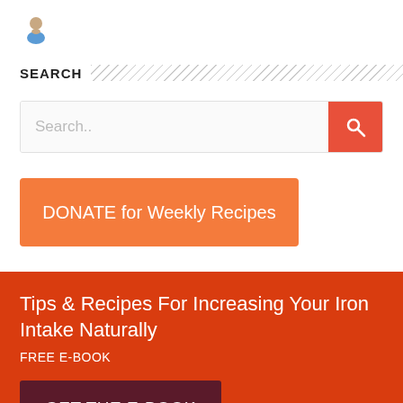[Figure (illustration): User/person avatar icon in grey and skin-tone colors]
SEARCH
[Figure (other): Search input box with placeholder text 'Search..' and an orange search button with magnifying glass icon]
[Figure (other): Orange button labeled 'DONATE for Weekly Recipes']
Tips & Recipes For Increasing Your Iron Intake Naturally
FREE E-BOOK
[Figure (other): Dark maroon button labeled 'GET THE E-BOOK']